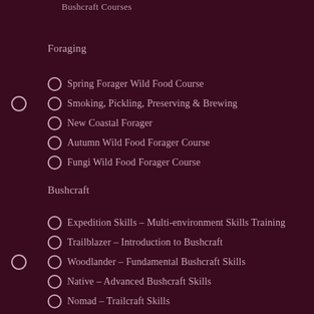Bushcraft Courses
Foraging
Spring Forager Wild Food Course
Smoking, Pickling, Preserving & Brewing
New Coastal Forager
Autumn Wild Food Forager Course
Fungi Wild Food Forager Course
Bushcraft
Expedition Skills – Multi-environment Skills Training
Trailblazer – Introduction to Bushcraft
Woodlander – Fundamental Bushcraft Skills
Native – Advanced Bushcraft Skills
Nomad – Trailcraft Skills